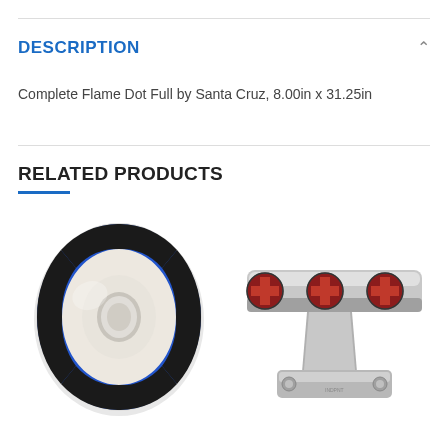DESCRIPTION
Complete Flame Dot Full by Santa Cruz, 8.00in x 31.25in
RELATED PRODUCTS
[Figure (photo): Spitfire blue and black swirl skateboard wheel]
[Figure (photo): Independent silver skateboard truck with cross logos]